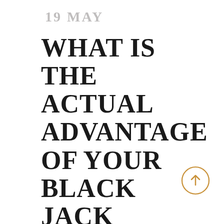19 MAY
WHAT IS THE ACTUAL ADVANTAGE OF YOUR BLACK JACK
[Figure (illustration): A circular arrow/up button with a golden/amber outline and upward arrow icon]